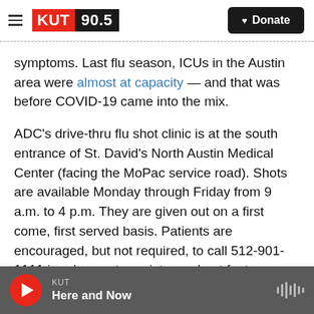[Figure (logo): KUT 90.5 radio station logo with red KUT and black 90.5 text, plus hamburger menu and Donate button]
symptoms. Last flu season, ICUs in the Austin area were almost at capacity — and that was before COVID-19 came into the mix.
ADC's drive-thru flu shot clinic is at the south entrance of St. David's North Austin Medical Center (facing the MoPac service road). Shots are available Monday through Friday from 9 a.m. to 4 p.m. They are given out on a first come, first served basis. Patients are encouraged, but not required, to call 512-901-1111 in advance to register and get faster service.
KUT Here and Now